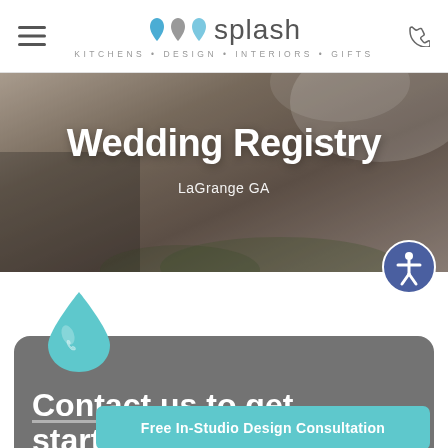Splash — Kitchens • Design • Interiors • Gifts
[Figure (photo): Hero banner photograph of a couple in wedding attire with flowers and a veil, overlaid with large white text 'Wedding Registry' and subtitle 'LaGrange GA']
Wedding Registry
LaGrange GA
[Figure (illustration): Large light blue water droplet icon above a gray rounded card section]
Contact us to get started with your
Free In-Studio Design Consultation